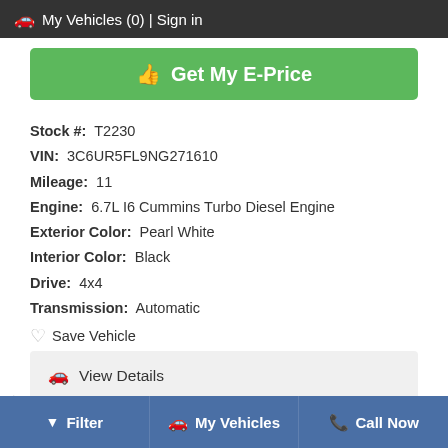🚗 My Vehicles (0) | Sign in
👍 Get My E-Price
Stock #: T2230
VIN: 3C6UR5FL9NG271610
Mileage: 11
Engine: 6.7L I6 Cummins Turbo Diesel Engine
Exterior Color: Pearl White
Interior Color: Black
Drive: 4x4
Transmission: Automatic
♡ Save Vehicle
🚗 View Details
Filter | My Vehicles | Call Now